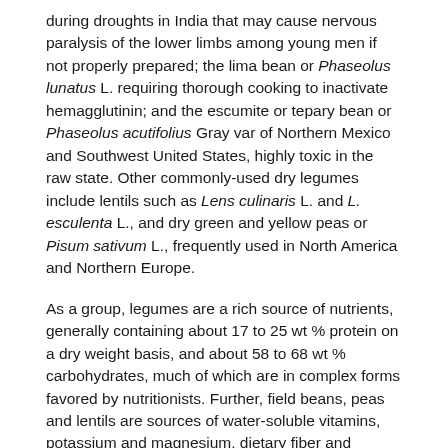during droughts in India that may cause nervous paralysis of the lower limbs among young men if not properly prepared; the lima bean or Phaseolus lunatus L. requiring thorough cooking to inactivate hemagglutinin; and the escumite or tepary bean or Phaseolus acutifolius Gray var of Northern Mexico and Southwest United States, highly toxic in the raw state. Other commonly-used dry legumes include lentils such as Lens culinaris L. and L. esculenta L., and dry green and yellow peas or Pisum sativum L., frequently used in North America and Northern Europe.
As a group, legumes are a rich source of nutrients, generally containing about 17 to 25 wt % protein on a dry weight basis, and about 58 to 68 wt % carbohydrates, much of which are in complex forms favored by nutritionists. Further, field beans, peas and lentils are sources of water-soluble vitamins, potassium and magnesium, dietary fiber and natural antioxidants.
Advantages of legumes include short growing periods enabling their production in areas with limited frost-free days and/or short rainy seasons, relatively high protein yield per unit of land, and long-term storability of the seeds